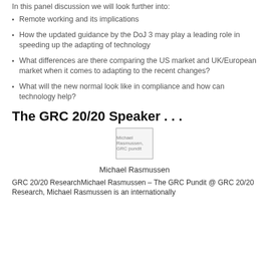In this panel discussion we will look further into:
Remote working and its implications
How the updated guidance by the DoJ 3 may play a leading role in speeding up the adapting of technology
What differences are there comparing the US market and UK/European market when it comes to adapting to the recent changes?
What will the new normal look like in compliance and how can technology help?
The GRC 20/20 Speaker . . .
[Figure (photo): Photo of Michael Rasmussen, GRC pundit]
Michael Rasmussen
GRC 20/20 ResearchMichael Rasmussen – The GRC Pundit @ GRC 20/20 Research, Michael Rasmussen is an internationally